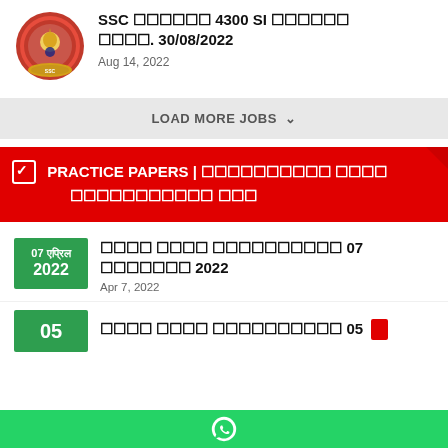SSC □□□□□□ 4300 SI □□□□□□ □□□□. 30/08/2022
Aug 14, 2022
LOAD MORE JOBS ∨
☑ PRACTICE PAPERS | □□□□□□□□□□ □□□□ □□□□□□□□□□□ □□□
□□□□ □□□□ □□□□□□□□□□ 07 □□□□□□□ 2022
Apr 7, 2022
□□□□ □□□□ □□□□□□□□□□ 05